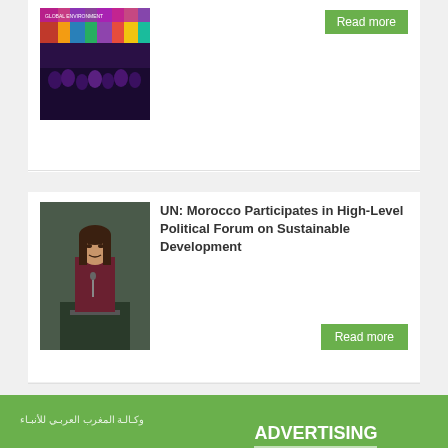[Figure (photo): Group photo of people at an international event, dark background with colorful flags]
Read more
[Figure (photo): Woman speaking at a podium, UN General Assembly or similar international forum]
UN: Morocco Participates in High-Level Political Forum on Sustainable Development
Read more
[Figure (logo): MAP Ecology – Agence Marocaine de Presse Ecology logo on green background with Arabic text]
ADVERTISING